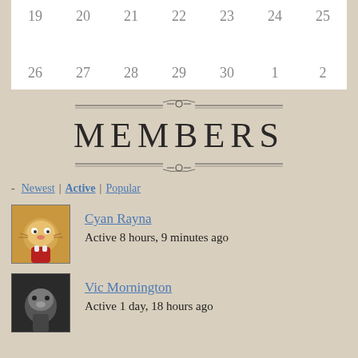| 19 | 20 | 21 | 22 | 23 | 24 | 25 |
| --- | --- | --- | --- | --- | --- | --- |
| 26 | 27 | 28 | 29 | 30 | 1 | 2 |
MEMBERS
Newest | Active | Popular
Cyan Rayna
Active 8 hours, 9 minutes ago
Vic Mornington
Active 1 day, 18 hours ago